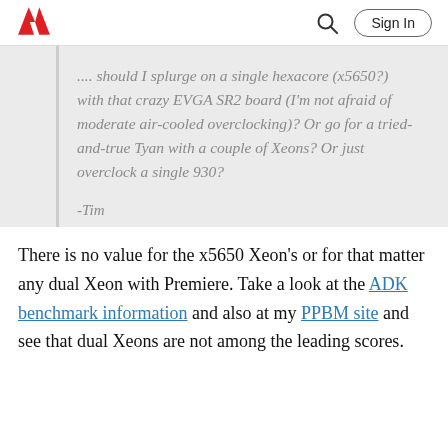Adobe | Sign In
.... should I splurge on a single hexacore (x5650?) with that crazy EVGA SR2 board (I'm not afraid of moderate air-cooled overclocking)?  Or go for a tried-and-true Tyan with a couple of Xeons?  Or just overclock a single 930?

-Tim
There is no value for the x5650 Xeon's or for that matter any dual Xeon with Premiere.  Take a look at the ADK benchmark information and also at my PPBM site and see that dual Xeons are not among the leading scores.